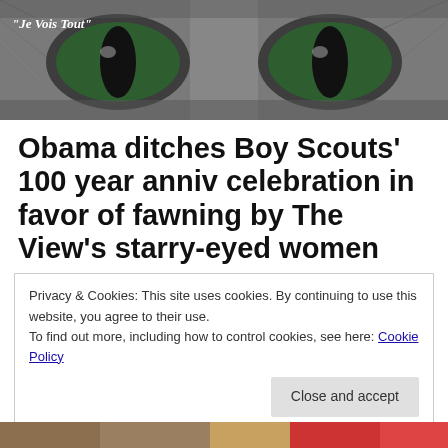[Figure (photo): Close-up black and white photo of a cat's eyes with green irises. Text overlay reads: "Je Vois Tout"]
Obama ditches Boy Scouts' 100 year anniv celebration in favor of fawning by The View's starry-eyed women
Privacy & Cookies: This site uses cookies. By continuing to use this website, you agree to their use.
To find out more, including how to control cookies, see here: Cookie Policy
Close and accept